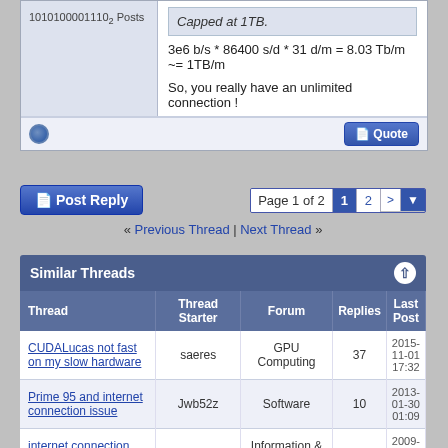1010100001110₂ Posts
Capped at 1TB.
3e6 b/s * 86400 s/d * 31 d/m = 8.03 Tb/m ~= 1TB/m
So, you really have an unlimited connection !
Post Reply | Page 1 of 2  1  2  >
« Previous Thread | Next Thread »
| Thread | Thread Starter | Forum | Replies | Last Post |
| --- | --- | --- | --- | --- |
| CUDALucas not fast on my slow hardware | saeres | GPU Computing | 37 | 2015-11-01 17:32 |
| Prime 95 and internet connection issue | Jwb52z | Software | 10 | 2013-01-30 01:09 |
| internet connection lost | Unregistered | Information & Answers | 1 | 2009-04-13 08:45 |